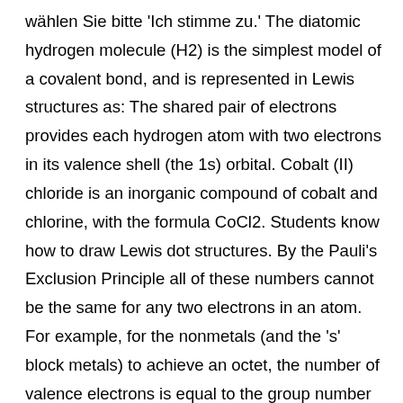wählen Sie bitte 'Ich stimme zu.' The diatomic hydrogen molecule (H2) is the simplest model of a covalent bond, and is represented in Lewis structures as: The shared pair of electrons provides each hydrogen atom with two electrons in its valence shell (the 1s) orbital. Cobalt (II) chloride is an inorganic compound of cobalt and chlorine, with the formula CoCl2. Students know how to draw Lewis dot structures. By the Pauli's Exclusion Principle all of these numbers cannot be the same for any two electrons in an atom. For example, for the nonmetals (and the 's' block metals) to achieve an octet, the number of valence electrons is equal to the group number (Table \